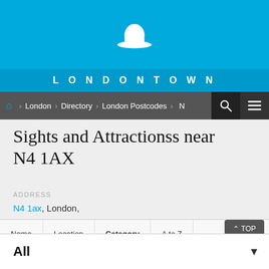[Figure (logo): LondonTown website header with white bowler hat icon on cyan/blue background and LONDONTOWN text below]
LONDONTOWN
London > Directory > London Postcodes > N
Sights and Attractionss near N4 1AX
ADDRESS
N4 1ax, London,
| Name | Location | Category | A to Z |
| --- | --- | --- | --- |
All